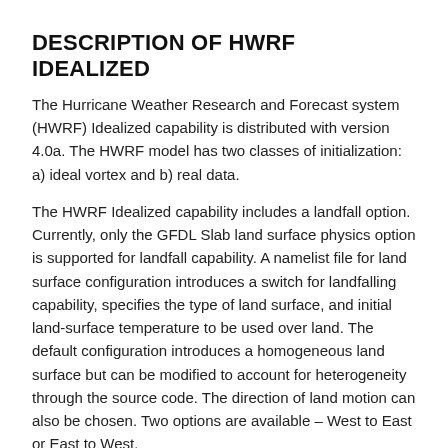DESCRIPTION OF HWRF IDEALIZED
The Hurricane Weather Research and Forecast system (HWRF) Idealized capability is distributed with version 4.0a. The HWRF model has two classes of initialization: a) ideal vortex and b) real data.
The HWRF Idealized capability includes a landfall option. Currently, only the GFDL Slab land surface physics option is supported for landfall capability. A namelist file for land surface configuration introduces a switch for landfalling capability, specifies the type of land surface, and initial land-surface temperature to be used over land. The default configuration introduces a homogeneous land surface but can be modified to account for heterogeneity through the source code. The direction of land motion can also be chosen. Two options are available – West to East or East to West.